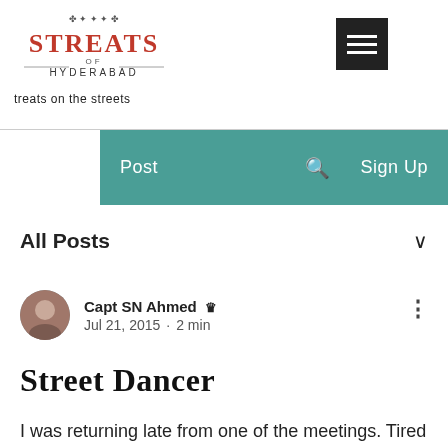STREATS OF HYDERABAD — treats on the streets
Post   Sign Up
All Posts
Capt SN Ahmed Admin
Jul 21, 2015 · 2 min
Street Dancer
I was returning late from one of the meetings. Tired and fatigued out..., I was in a hurry to reach home. But the traffic signal at Paradise was